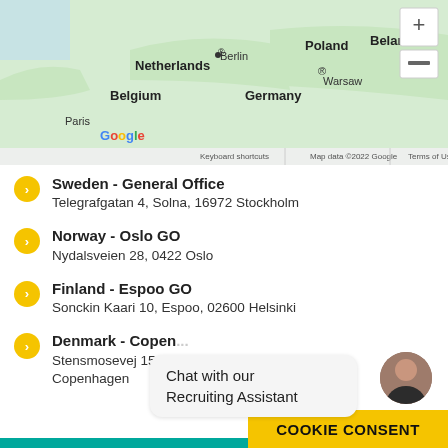[Figure (map): Google Map showing Northern/Central Europe including Netherlands, Belgium, Germany, Poland, Belarus. Berlin and Warsaw marked with dots. Map data ©2022 Google. Zoom controls visible top right.]
Sweden - General Office
Telegrafgatan 4, Solna, 16972 Stockholm
Norway - Oslo GO
Nydalsveien 28, 0422 Oslo
Finland - Espoo GO
Sonckin Kaari 10, Espoo, 02600 Helsinki
Denmark - Copenhagen
Stensmosevej 15, A...
Copenhagen
Chat with our Recruiting Assistant
COOKIE CONSENT